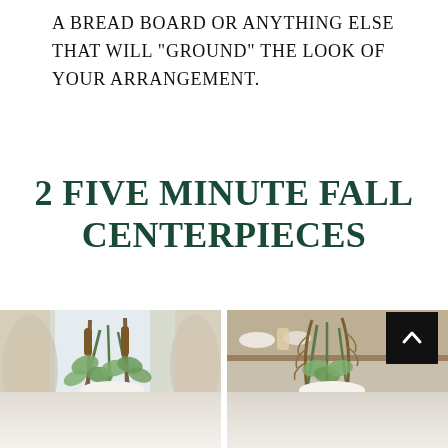A BREAD BOARD OR ANYTHING ELSE THAT WILL "GROUND" THE LOOK OF YOUR ARRANGEMENT.
2 FIVE MINUTE FALL CENTERPIECES
[Figure (photo): Two side-by-side photos of fall floral centerpieces in white ceramic pitchers. Left photo shows eucalyptus and cattails in a white pitcher against a bright window with ornate mirror and floral curtains. Right photo shows a similar arrangement with feathers on a dining table with candles and wood shelving in background. A dark scroll-to-top button is overlaid on the right image.]